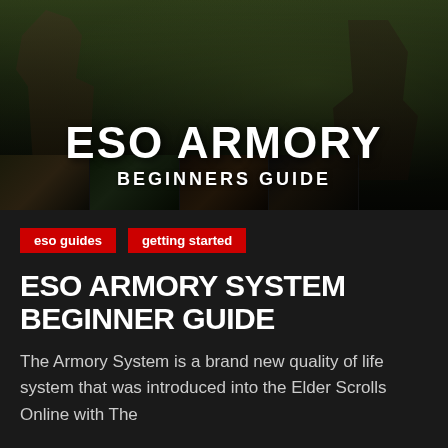[Figure (illustration): ESO Armory Beginners Guide banner image showing game characters in a fantasy forest setting with large white text 'ESO ARMORY' and subtitle 'BEGINNERS GUIDE', plus a bottom strip of scene panels with game characters and creatures]
eso guides
getting started
ESO ARMORY SYSTEM BEGINNER GUIDE
The Armory System is a brand new quality of life system that was introduced into the Elder Scrolls Online with The...</text>